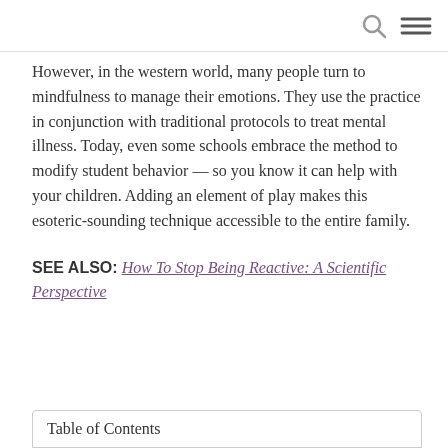[search icon] [menu icon]
However, in the western world, many people turn to mindfulness to manage their emotions. They use the practice in conjunction with traditional protocols to treat mental illness. Today, even some schools embrace the method to modify student behavior — so you know it can help with your children. Adding an element of play makes this esoteric-sounding technique accessible to the entire family.
SEE ALSO: How To Stop Being Reactive: A Scientific Perspective
Table of Contents